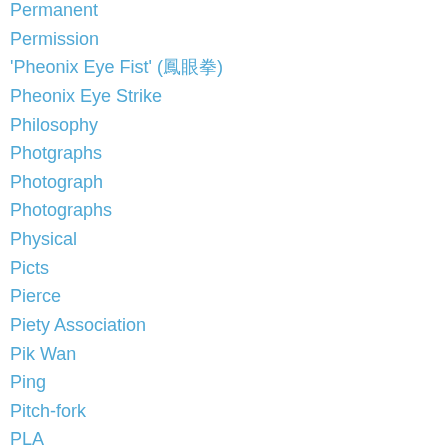Permanent
Permission
'Pheonix Eye Fist' (鳳眼拳)
Pheonix Eye Strike
Philosophy
Photgraphs
Photograph
Photographs
Physical
Picts
Pierce
Piety Association
Pik Wan
Ping
Pitch-fork
PLA
Place
Placement
Plaid
Planning
Play